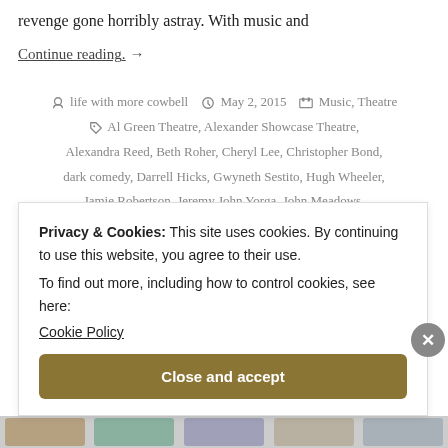revenge gone horribly astray. With music and
Continue reading. →
life with more cowbell   May 2, 2015   Music, Theatre
Al Green Theatre, Alexander Showcase Theatre, Alexandra Reed, Beth Roher, Cheryl Lee, Christopher Bond, dark comedy, Darrell Hicks, Gwyneth Sestito, Hugh Wheeler, Jamie Robertson, Jeremy John Yorga, John Meadows, Joshua Wales, musical, Nina Mason, Patrick Brown, Pete Thompson, Seth Malond, Sharon Zaharia
Privacy & Cookies: This site uses cookies. By continuing to use this website, you agree to their use.
To find out more, including how to control cookies, see here:
Cookie Policy
Close and accept